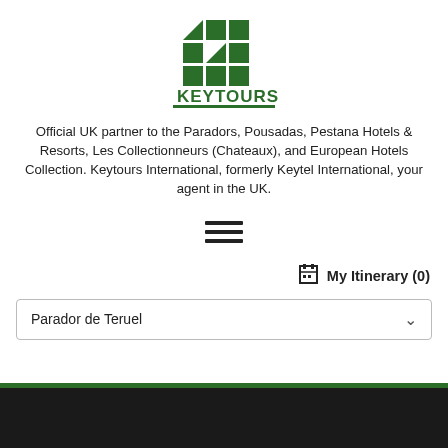[Figure (logo): Keytours International logo: green grid squares and text 'KEYTOURS INTERNATIONAL' on white background]
Official UK partner to the Paradors, Pousadas, Pestana Hotels & Resorts, Les Collectionneurs (Chateaux), and European Hotels Collection. Keytours International, formerly Keytel International, your agent in the UK.
[Figure (other): Hamburger menu icon (three horizontal lines)]
My Itinerary (0)
Parador de Teruel